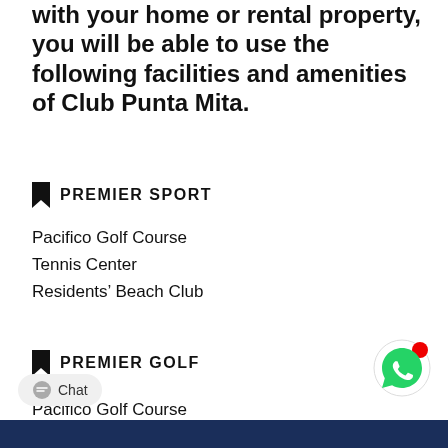with your home or rental property, you will be able to use the following facilities and amenities of Club Punta Mita.
PREMIER SPORT
Pacifico Golf Course
Tennis Center
Residents’ Beach Club
PREMIER GOLF
Pacifico Golf Course
Bahia Golf Course
Tennis Center
Fitness Center
Residents’ Beach Club
Kupuri Beach Club